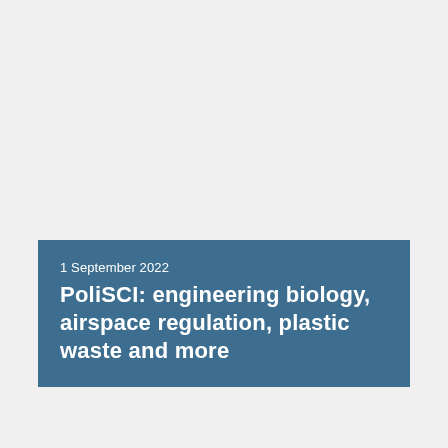1 September 2022
PoliSCI: engineering biology, airspace regulation, plastic waste and more